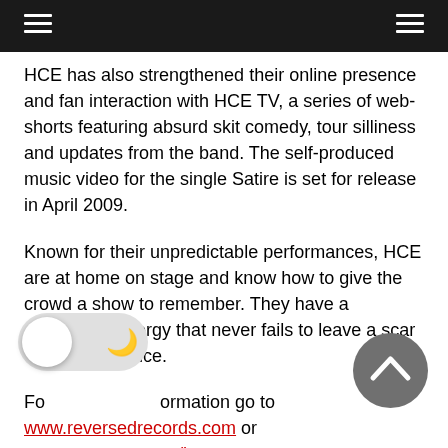≡   ≡
HCE has also strengthened their online presence and fan interaction with HCE TV, a series of web-shorts featuring absurd skit comedy, tour silliness and updates from the band. The self-produced music video for the single Satire is set for release in April 2009.
Known for their unpredictable performances, HCE are at home on stage and know how to give the crowd a show to remember. They have a contagious energy that never fails to leave a scar on their audience.
For more information go to www.reversedrecords.com or www.myspace.com/hce